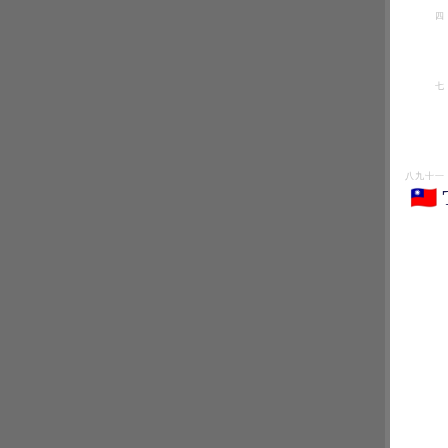[Figure (other): Gray vertical panel covering the left portion of the page, approximately 87% of page width]
🀰🀱 Taiwan